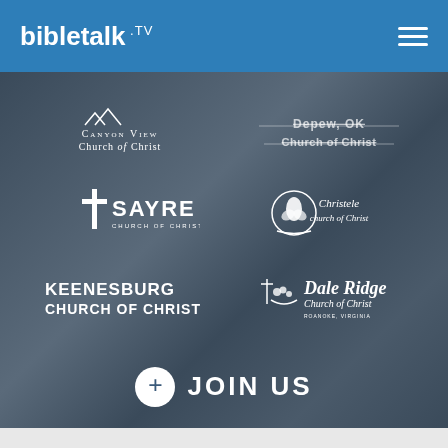BibleTalk.TV
[Figure (logo): Canyon View Church of Christ logo - white text on dark background]
[Figure (logo): Depew, OK Church of Christ logo - white text with strikethrough style]
[Figure (logo): Sayre Church of Christ logo - white cross icon with SAYRE text]
[Figure (logo): Christele Church of Christ logo - leaf/plant circular icon with script text]
[Figure (logo): Keenesburg Church of Christ logo - bold uppercase white text]
[Figure (logo): Dale Ridge Church of Christ logo - people icon with italic text, Roanoke Virginia]
+ JOIN US